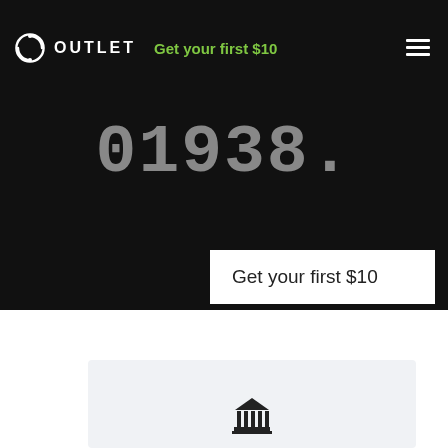OUTLET | Get your first $10
01938.
Get your first $10
[Figure (other): Light gray card form area with a bank/institution icon at the bottom center]